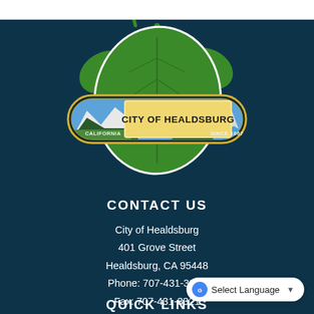[Figure (logo): City of Healdsburg official seal/logo featuring a green grape leaf above a horizontal badge reading 'CITY OF HEALDSBURG' with 'CALIFORNIA' on the left and 'SINCE 1867' on the right, with a scenic landscape background inside the badge.]
CONTACT US
City of Healdsburg
401 Grove Street
Healdsburg, CA 95448
Phone: 707-431-3317
Fax: 707-431-3321
QUICK LINKS